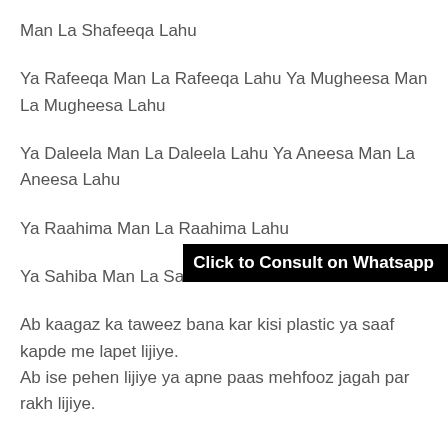Man La Shafeeqa Lahu
Ya Rafeeqa Man La Rafeeqa Lahu Ya Mugheesa Man La Mugheesa Lahu
Ya Daleela Man La Daleela Lahu Ya Aneesa Man La Aneesa Lahu
Ya Raahima Man La Raahima Lahu
Click to Consult on Whatsapp
Ya Sahiba Man La Sahiba Lahu
Ab kaagaz ka taweez bana kar kisi plastic ya saaf kapde me lapet lijiye.
Ab ise pehen lijiye ya apne paas mehfooz jagah par rakh lijiye.